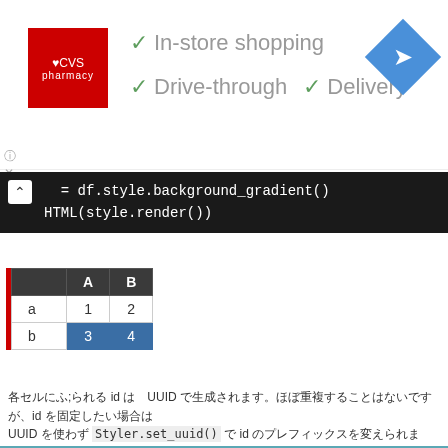[Figure (screenshot): CVS Pharmacy ad banner showing logo with checkmarks for In-store shopping, Drive-through, and Delivery options, with a navigation icon]
[Figure (screenshot): Code block: s = df.style.background_gradient() and HTML(style.render()) in dark terminal]
|  | A | B |
| --- | --- | --- |
| a | 1 | 2 |
| b | 3 | 4 |
各セルに振られる id は UUID で生成されます。ほぼ重複することはないですが、id を固定したい場合は UUID を使わず Styler.set_uuid() で id のプレフィックスを変えられます。
[Figure (screenshot): In [16]: code block with style = df.style.background_gradient().set_uuid('hoge') and HTML(style.render())]
|  | A | B |
| --- | --- | --- |